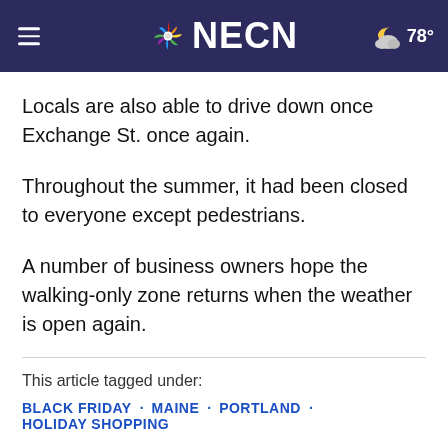NECN — 78°
Locals are also able to drive down once Exchange St. once again.
Throughout the summer, it had been closed to everyone except pedestrians.
A number of business owners hope the walking-only zone returns when the weather is open again.
This article tagged under:
BLACK FRIDAY · MAINE · PORTLAND · HOLIDAY SHOPPING